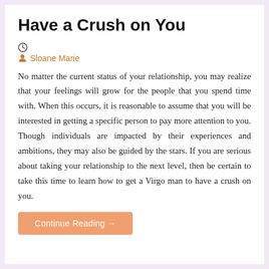Have a Crush on You
🕐
👤 Sloane Marie
No matter the current status of your relationship, you may realize that your feelings will grow for the people that you spend time with. When this occurs, it is reasonable to assume that you will be interested in getting a specific person to pay more attention to you. Though individuals are impacted by their experiences and ambitions, they may also be guided by the stars. If you are serious about taking your relationship to the next level, then be certain to take this time to learn how to get a Virgo man to have a crush on you.
Continue Reading →